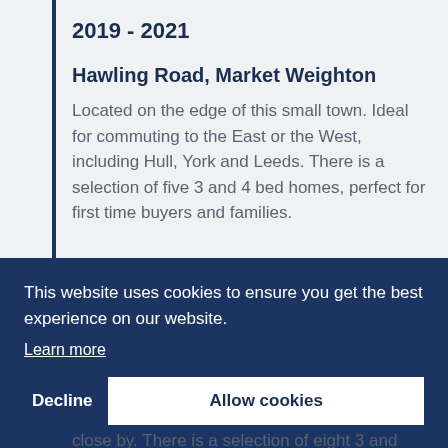2019 - 2021
Hawling Road, Market Weighton
Located on the edge of this small town. Ideal for commuting to the East or the West, including Hull, York and Leeds. There is a selection of five 3 and 4 bed homes, perfect for first time buyers and families.
This website uses cookies to ensure you get the best experience on our website. Learn more
Decline   Allow cookies
close by. There is a selection of eight 3 and